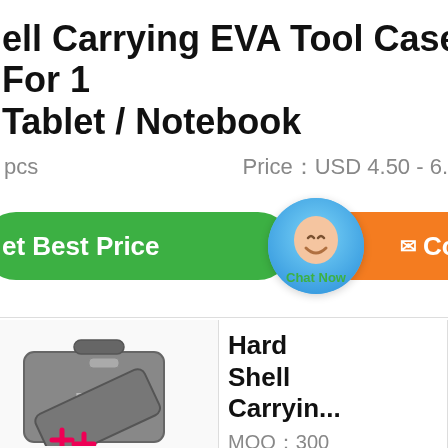ell Carrying EVA Tool Case For 1 Tablet / Notebook
pcs   Price：USD 4.50 - 6.
[Figure (screenshot): Green 'Get Best Price' button, blue chat bubble with 'Chat Now' label, and orange 'Contact' button]
for
[Figure (photo): Gray hard shell carrying case branded BBKE, open showing interior with tools]
Hard Shell Carryin...
MOQ：300